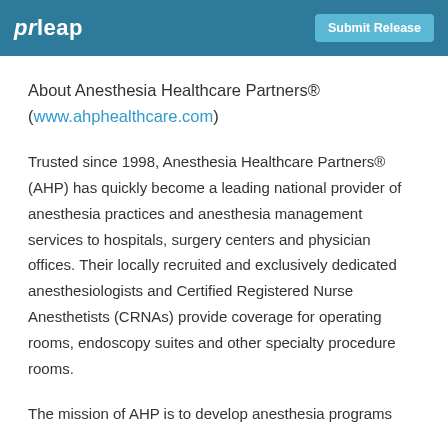prleap | Submit Release
About Anesthesia Healthcare Partners® (www.ahphealthcare.com)
Trusted since 1998, Anesthesia Healthcare Partners® (AHP) has quickly become a leading national provider of anesthesia practices and anesthesia management services to hospitals, surgery centers and physician offices. Their locally recruited and exclusively dedicated anesthesiologists and Certified Registered Nurse Anesthetists (CRNAs) provide coverage for operating rooms, endoscopy suites and other specialty procedure rooms.
The mission of AHP is to develop anesthesia programs